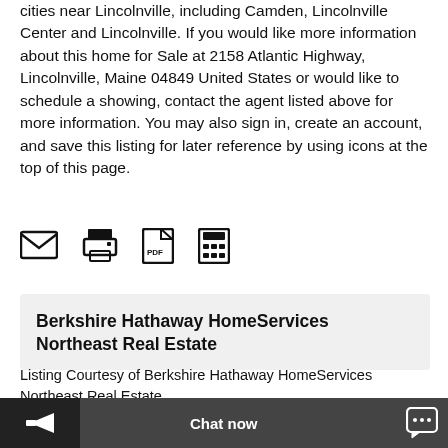cities near Lincolnville, including Camden, Lincolnville Center and Lincolnville. If you would like more information about this home for Sale at 2158 Atlantic Highway, Lincolnville, Maine 04849 United States or would like to schedule a showing, contact the agent listed above for more information. You may also sign in, create an account, and save this listing for later reference by using icons at the top of this page.
[Figure (infographic): Four icon buttons: email envelope, printer, PDF/Acrobat, and calculator]
Berkshire Hathaway HomeServices Northeast Real Estate
Listing Courtesy of Berkshire Hathaway HomeServices Northeast Real Estate
HOMES NEAR 2158 ATLANTIC HIGHWAY, LINCOLNVILLE